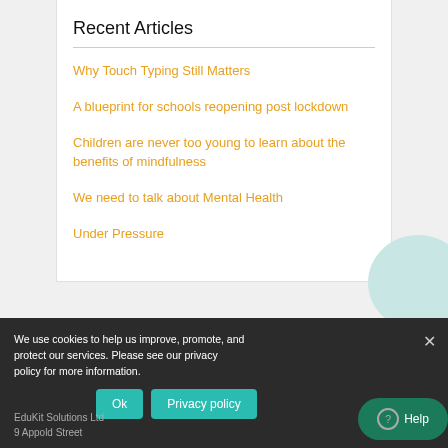Recent Articles
Why Touch Typing Still Matters
A blueprint for schools reopening post lockdown
Children are never too young to learn about the benefits of mindfulness
We need to talk about Mental Health
Under Pressure
We use cookies to help us improve, promote, and protect our services. Please see our privacy policy for more information.
EduKit Solutions Ltd
9 Appold Street